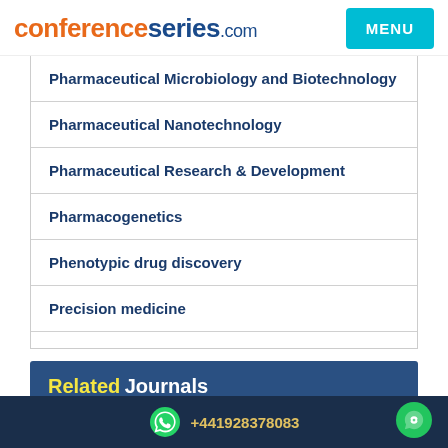conferenceseries.com
Pharmaceutical Microbiology and Biotechnology
Pharmaceutical Nanotechnology
Pharmaceutical Research & Development
Pharmacogenetics
Phenotypic drug discovery
Precision medicine
Related Journals
Journal of Chemical and Pharmaceutical Research
Journal of Pharmaceutics & Drug Delivery Research
+441928378083